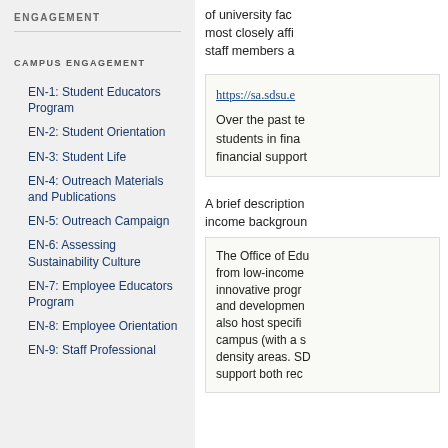ENGAGEMENT
CAMPUS ENGAGEMENT
EN-1: Student Educators Program
EN-2: Student Orientation
EN-3: Student Life
EN-4: Outreach Materials and Publications
EN-5: Outreach Campaign
EN-6: Assessing Sustainability Culture
EN-7: Employee Educators Program
EN-8: Employee Orientation
EN-9: Staff Professional
of university faculty most closely affiliated staff members a
https://sa.sdsu.e
Over the past ten students in financial support
A brief description income background
The Office of Education from low-income innovative programs and development also host specific campus (with a density areas. SDSU support both rec